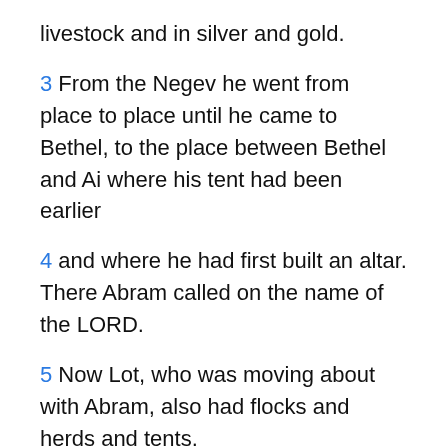livestock and in silver and gold.
3 From the Negev he went from place to place until he came to Bethel, to the place between Bethel and Ai where his tent had been earlier
4 and where he had first built an altar. There Abram called on the name of the LORD.
5 Now Lot, who was moving about with Abram, also had flocks and herds and tents.
6 But the land could not support them while they stayed together, for their